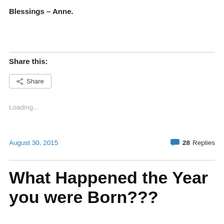Blessings – Anne.
Share this:
Share
Loading...
August 30, 2015
28 Replies
What Happened the Year you were Born???